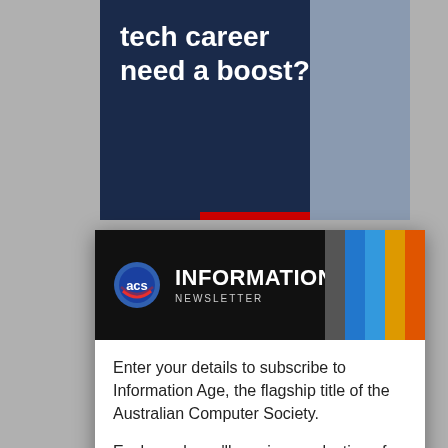[Figure (screenshot): Top advertisement banner showing 'tech career need a boost?' text on dark blue background with person in checked shirt]
Mos... ich as A... e wal... oid dev...
How... eir own... have... hat acc...
"App...
[Figure (screenshot): Modal popup overlay with newsletter signup for Information Age by ACS (Australian Computer Society)]
Close ×
[Figure (logo): Information Age Newsletter banner with ACS logo and colored vertical bars]
Enter your details to subscribe to Information Age, the flagship title of the Australian Computer Society.
Each week you'll receive a selection of the latest articles so you can stay up to date with the latest news, analysis and opinion.
Email address: